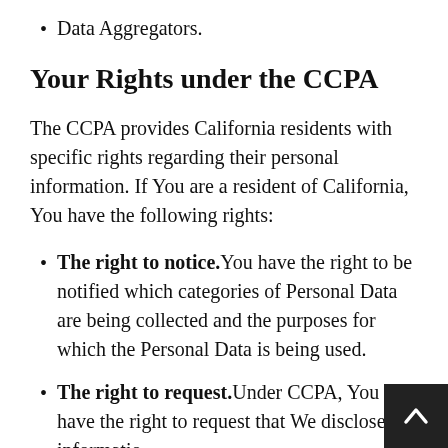Data Aggregators.
Your Rights under the CCPA
The CCPA provides California residents with specific rights regarding their personal information. If You are a resident of California, You have the following rights:
The right to notice. You have the right to be notified which categories of Personal Data are being collected and the purposes for which the Personal Data is being used.
The right to request. Under CCPA, You have the right to request that We disclose information to You about Our collection, use,